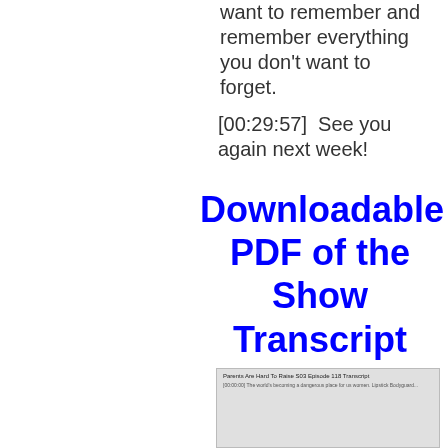want to remember and remember everything you don't want to forget.
[00:29:57]  See you again next week!
Downloadable PDF of the Show Transcript
[Figure (screenshot): Screenshot of a PDF transcript document titled 'Parents Are Hard To Raise S03 Episode 118 Transcript' with transcript text beginning with a timestamp.]